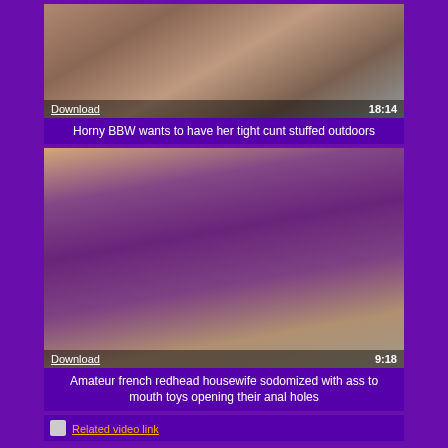[Figure (photo): Video thumbnail showing a person outdoors near a vehicle, with Download link and duration 18:14 overlaid]
Horny BBW wants to have her tight cunt stuffed outdoors
[Figure (photo): Video thumbnail showing a person lying on a floor, with Download link and duration 9:18 overlaid]
Amateur french redhead housewife sodomized with ass to mouth toys opening their anal holes
Related video link row at bottom